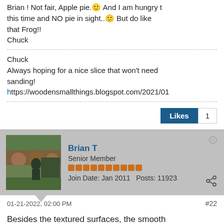Brian ! Not fair, Apple pie.🙂 And I am hungry this time and NO pie in sight..🙂 But do like that Frog!!
Chuck
Chuck
Always hoping for a nice slice that won't need sanding!
https://woodensmallthings.blogspot.com/2021/01
Likes  1
Brian T
Senior Member
Join Date: Jan 2011   Posts: 11923
01-21-2022, 02:00 PM
#22
Besides the textured surfaces, the smooth